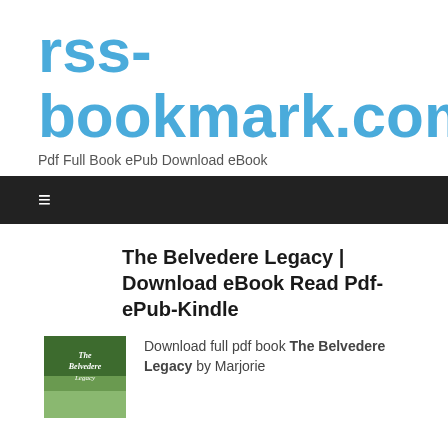rss-bookmark.com
Pdf Full Book ePub Download eBook
≡
The Belvedere Legacy | Download eBook Read Pdf-ePub-Kindle
Download full pdf book The Belvedere Legacy by Marjorie